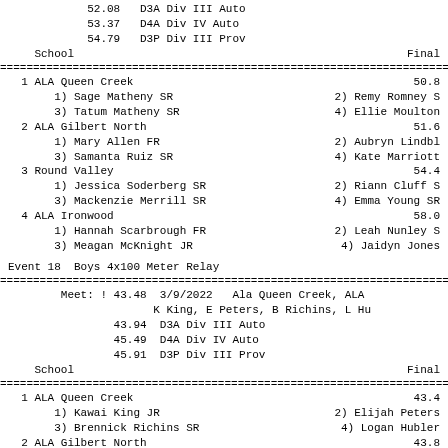52.08   D3A Div III Auto
            53.37   D4A Div IV Auto
            54.79   D3P Div III Prov
| School | Finals |
| --- | --- |
| 1 ALA Queen Creek | 50.8 |
|    1) Sage Matheny SR | 2) Remy Romney S |
|    3) Tatum Matheny SR | 4) Ellie Moulton |
| 2 ALA Gilbert North | 51.6 |
|    1) Mary Allen FR | 2) Aubryn Lindbl |
|    3) Samanta Ruiz SR | 4) Kate Marriott |
| 3 Round Valley | 54.4 |
|    1) Jessica Soderberg SR | 2) Riann Cluff S |
|    3) Mackenzie Merrill SR | 4) Emma Young SR |
| 4 ALA Ironwood | 58.0 |
|    1) Hannah Scarbrough FR | 2) Leah Nunley S |
|    3) Meagan McKnight JR | 4) Jaidyn Jones |
Event 18  Boys 4x100 Meter Relay
Meet: ! 43.48  3/9/2022   Ala Queen Creek, ALA
                      K King, E Peters, B Richins, L Hu
            43.94  D3A Div III Auto
            45.49  D4A Div IV Auto
            45.91  D3P Div III Prov
| School | Finals |
| --- | --- |
| 1 ALA Queen Creek | 43.4 |
|    1) Kawai King JR | 2) Elijah Peters |
|    3) Brennick Richins SR | 4) Logan Hubler |
| 2 ALA Gilbert North | 43.8 |
|    1) Justin Provenzano SR | 2) Jeremiah Wall |
|    3) Adam Damento JR | 4) Austin Tzyder |